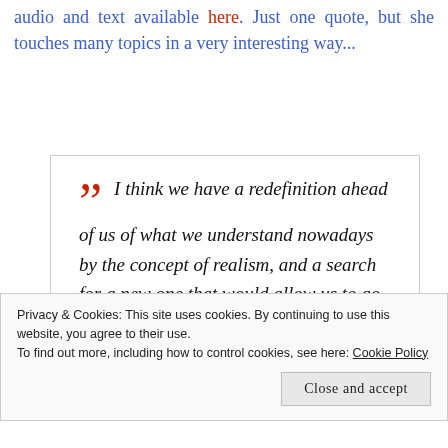audio and text available here. Just one quote, but she touches many topics in a very interesting way...
I think we have a redefinition ahead of us of what we understand nowadays by the concept of realism, and a search for a new one that would allow us to go beyond the limits of our
Privacy & Cookies: This site uses cookies. By continuing to use this website, you agree to their use. To find out more, including how to control cookies, see here: Cookie Policy
Close and accept